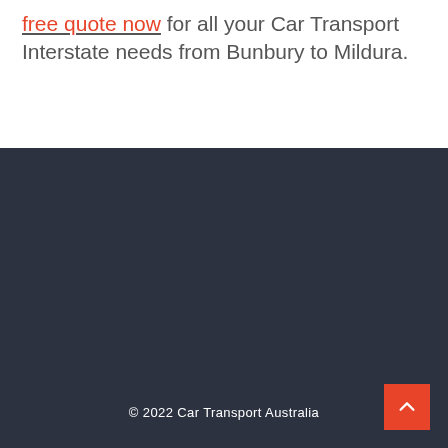free quote now for all your Car Transport Interstate needs from Bunbury to Mildura.
© 2022 Car Transport Australia